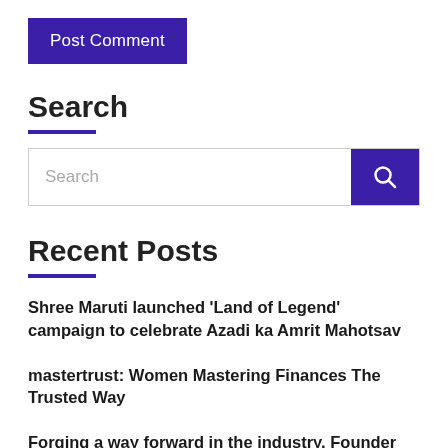[Figure (other): Purple 'Post Comment' button]
Search
[Figure (other): Search input box with purple search button and magnifying glass icon]
Recent Posts
Shree Maruti launched ‘Land of Legend’ campaign to celebrate Azadi ka Amrit Mahotsav
mastertrust: Women Mastering Finances The Trusted Way
Forging a way forward in the industry, Founder and CEO, Mediatronics, Richank Tiwary, gains momentum to